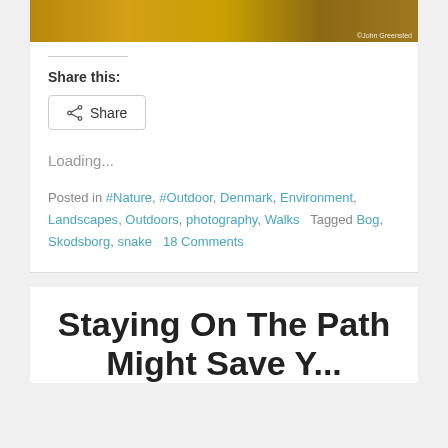[Figure (photo): Partial bottom strip of an autumn landscape photo showing golden/yellow foliage with a photo credit watermark in the bottom right]
Share this:
Share
Loading...
Posted in #Nature, #Outdoor, Denmark, Environment, Landscapes, Outdoors, photography, Walks   Tagged Bog, Skodsborg, snake   18 Comments
Staying On The Path Might Save Y...